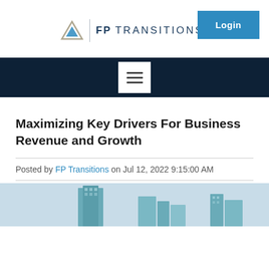[Figure (logo): FP Transitions logo with triangle icon and vertical divider, followed by 'FP TRANSITIONS' text in dark navy. A blue 'Login' button appears to the right.]
[Figure (infographic): Dark navy navigation bar with a white hamburger menu icon (three horizontal lines) centered within it.]
Maximizing Key Drivers For Business Revenue and Growth
Posted by FP Transitions on Jul 12, 2022 9:15:00 AM
[Figure (photo): Partial view of a blue-toned cityscape image showing buildings/skyscrapers, cropped at bottom of page.]